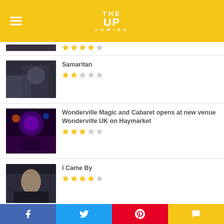THE UPCOMING
[Figure (screenshot): Partial thumbnail of a film/show, cropped at top]
[Figure (other): Star rating: 4 out of 5 stars (partial row)]
[Figure (photo): Samaritan movie thumbnail showing two figures]
Samaritan
[Figure (other): Star rating: 2 out of 5 stars]
[Figure (photo): Wonderville Magic and Cabaret show thumbnail with colorful stage lights]
Wonderville Magic and Cabaret opens at new venue Wonderville UK on Haymarket
[Figure (other): Star rating: 3 out of 5 stars]
[Figure (photo): I Came By film thumbnail showing a woman]
I Came By
[Figure (other): Star rating: 4 out of 5 stars]
[Figure (photo): Friday at All Points East 2022 thumbnail]
Friday at All Points East 2022: Gorillaz and Damon Albarn open with a local
Social share bar: Facebook, Twitter, Pinterest, Comment